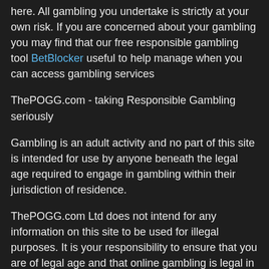here. All gambling you undertake is strictly at your own risk. If you are concerned about your gambling you may find that our free responsible gambling tool BetBlocker useful to help manage when you can access gambling services
ThePOGG.com - taking Responsible Gambling seriously
Gambling is an adult activity and no part of this site is intended for use by anyone beneath the legal age required to engage in gambling within their jurisdiction of residence.
ThePOGG.com Ltd does not intend for any information on this site to be used for illegal purposes. It is your responsibility to ensure that you are of legal age and that online gambling is legal in your country of residence. ThePOGG.com Ltd is intended to provide bias free information regarding the online gambling industry. The information on this site is intended for entertainment purposes only.